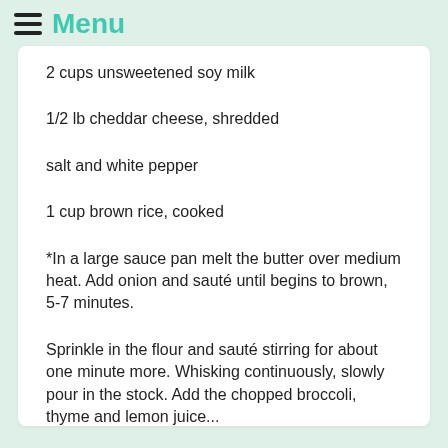Menu
2 cups unsweetened soy milk
1/2 lb cheddar cheese, shredded
salt and white pepper
1 cup brown rice, cooked
*In a large sauce pan melt the butter over medium heat. Add onion and sauté until begins to brown, 5-7 minutes.
Sprinkle in the flour and sauté stirring for about one minute more. Whisking continuously, slowly pour in the stock. Add the chopped broccoli, thyme and lemon juice...